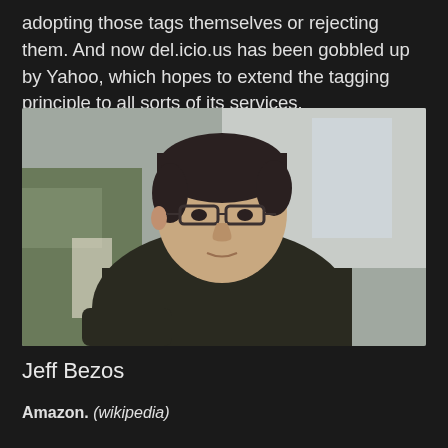adopting those tags themselves or rejecting them. And now del.icio.us has been gobbled up by Yahoo, which hopes to extend the tagging principle to all sorts of its services.
[Figure (photo): Portrait photo of a man with dark hair and glasses wearing a dark olive/black t-shirt, seated outdoors with a blurred background showing a building and other people.]
Jeff Bezos
Amazon. (wikipedia)